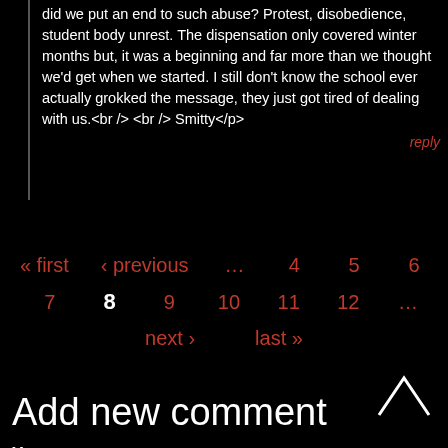did we put an end to such abuse? Protest, disobedience, student body unrest. The dispensation only covered winter months but, it was a beginning and far more than we thought we&#39;d get when we started. I still don&#39;t know the school ever actually grokked the message, they just got tired of dealing with us.<br /> <br /> Smitty</p>
reply
« first  < previous  ...  4  5  6  7  8  9  10  11  12  ...  next >  last »
Add new comment
Your name